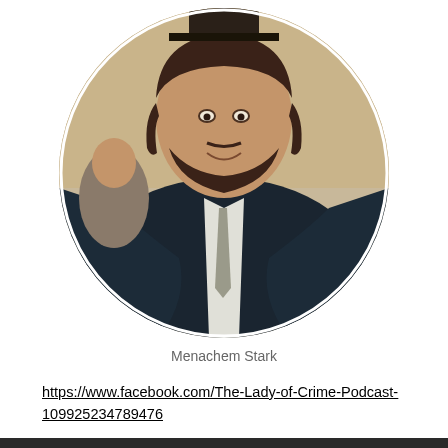[Figure (photo): Circular cropped photograph of a bearded man wearing a dark suit and white shirt/tie, smiling. Background shows other people in what appears to be an indoor gathering.]
Menachem Stark
https://www.facebook.com/The-Lady-of-Crime-Podcast-109925234789476